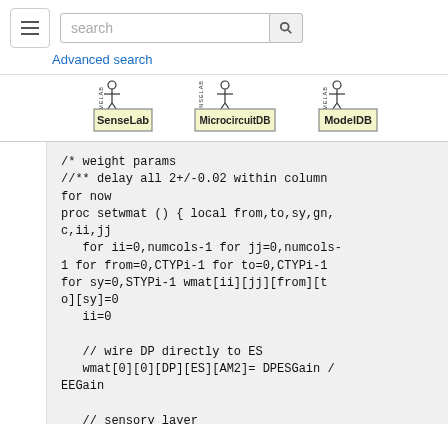search | Advanced search
[Figure (logo): SenseLab logo]
[Figure (logo): MicrocircuitDB logo]
[Figure (logo): ModelDB logo]
/* weight params
//** delay all 2+/-0.02 within column for now
proc setwmat () { local from,to,sy,gn,c,ii,jj
   for ii=0,numcols-1 for jj=0,numcols-1 for from=0,CTYPi-1 for to=0,CTYPi-1 for sy=0,STYPi-1 wmat[ii][jj][from][to][sy]=0
   ii=0

   // wire DP directly to ES
   wmat[0][0][DP][ES][AM2]= DPESGain / EEGain

   // sensory layer
   wmat[ii][ii][ES][ES][AM2]=0.66
   wmat[ii][ii][ES][ISL][AM2]=0.23 // *